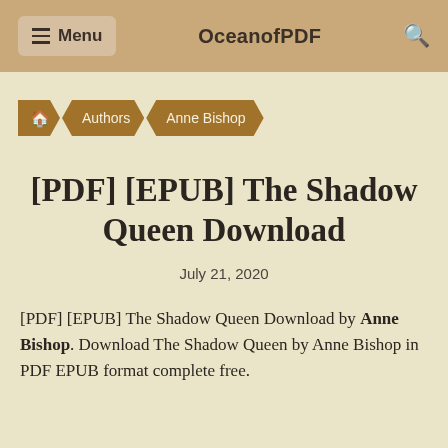Menu  OceanofPDF  🔍
🏠 Authors Anne Bishop
[PDF] [EPUB] The Shadow Queen Download
July 21, 2020
[PDF] [EPUB] The Shadow Queen Download by Anne Bishop. Download The Shadow Queen by Anne Bishop in PDF EPUB format complete free.